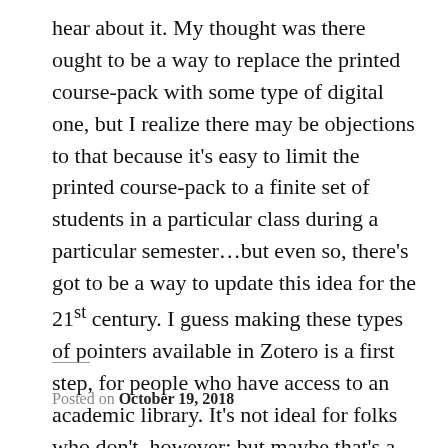hear about it. My thought was there ought to be a way to replace the printed course-pack with some type of digital one, but I realize there may be objections to that because it's easy to limit the printed course-pack to a finite set of students in a particular class during a particular semester…but even so, there's got to be a way to update this idea for the 21st century. I guess making these types of pointers available in Zotero is a first step, for people who have access to an academic library. It's not ideal for folks who don't, however; but maybe that's a battle for another day.
Posted on October 19, 2018